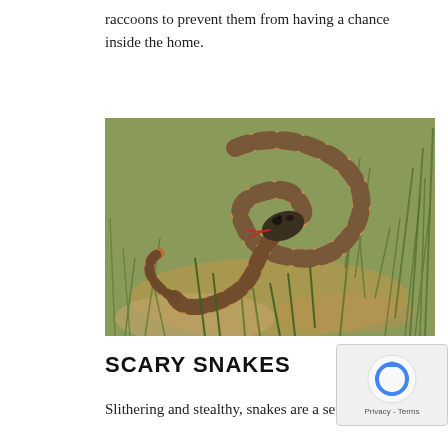raccoons to prevent them from having a chance inside the home.
[Figure (photo): A patterned snake coiled in dry grass and dirt, raising its head, with black and tan/orange scale markings visible.]
SCARY SNAKES
Slithering and stealthy, snakes are a severe danger